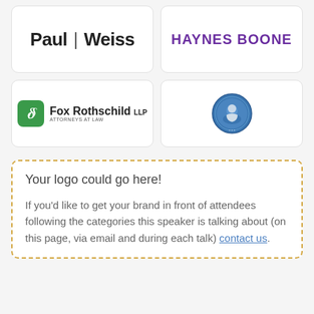[Figure (logo): Paul Weiss law firm logo — bold text 'Paul|Weiss' with vertical bar separator]
[Figure (logo): Haynes Boone law firm logo — bold purple uppercase text 'HAYNES BOONE']
[Figure (logo): Fox Rothschild LLP law firm logo — green rounded square icon with delta symbol, text 'Fox Rothschild LLP ATTORNEYS AT LAW']
[Figure (logo): Circular blue medallion/seal logo for unidentified law firm or organization]
Your logo could go here!
If you'd like to get your brand in front of attendees following the categories this speaker is talking about (on this page, via email and during each talk) contact us.